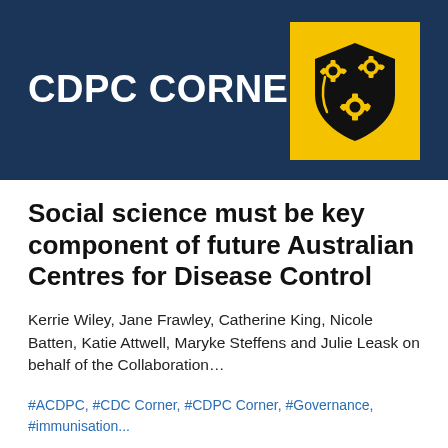[Figure (logo): CDPC Corner banner with dark navy background, white bold text 'CDPC CORNER' on left, and a yellow square logo on the right containing a black shield with three yellow gear/cog icons]
Social science must be key component of future Australian Centres for Disease Control
Kerrie Wiley, Jane Frawley, Catherine King, Nicole Batten, Katie Attwell, Maryke Steffens and Julie Leask on behalf of the Collaboration…
#ACDPC, #CDC Corner, #CDPC Corner, #Governance, #immunisation...